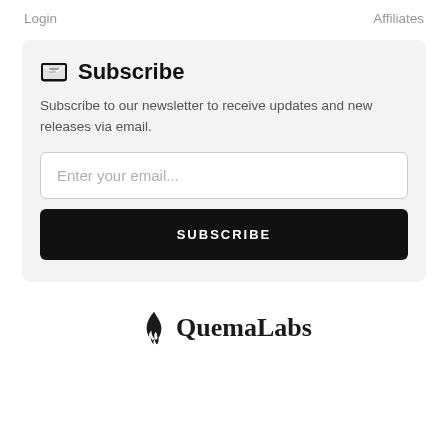Login   Affiliates
Subscribe
Subscribe to our newsletter to receive updates and new releases via email.
Enter your email...
SUBSCRIBE
[Figure (logo): QuemaLabs logo with flame icon and text 'QuemaLabs']